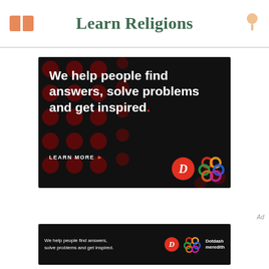Learn Religions
[Figure (infographic): Advertisement banner on dark background with red polka dots pattern. White bold text reads: We help people find answers, solve problems and get inspired. (with red period). Below: LEARN MORE in white with orange arrow. Dotdash D logo in red circle and colorful interlocking chain logo shown bottom right.]
[Figure (infographic): Small advertisement banner: dark background with text 'We help people find answers, solve problems and get inspired.' with Dotdash D logo and colorful chain logo, and text 'Dotdash meredith' on right.]